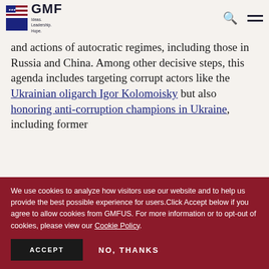GMF — Ideas. Leadership. Hope.
and actions of autocratic regimes, including those in Russia and China. Among other decisive steps, this agenda includes targeting corrupt actors like the Ukrainian oligarch Igor Kolomoisky but also honoring anti-corruption champions in Ukraine, including former
We use cookies to analyze how visitors use our website and to help us provide the best possible experience for users.Click Accept below if you agree to allow cookies from GMFUS. For more information or to opt-out of cookies, please view our Cookie Policy.